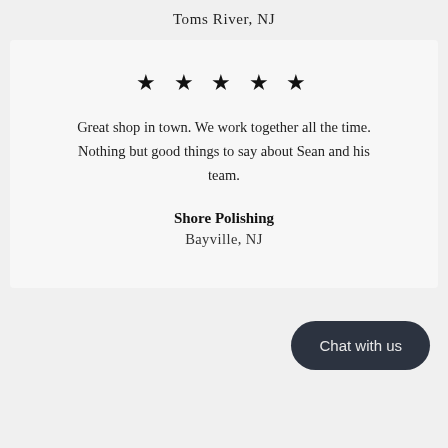Toms River, NJ
★ ★ ★ ★ ★
Great shop in town. We work together all the time. Nothing but good things to say about Sean and his team.
Shore Polishing
Bayville, NJ
Chat with us